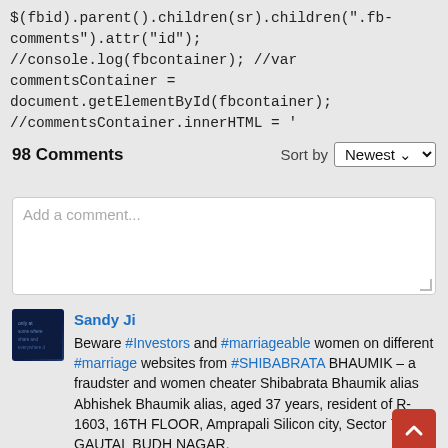$(fbid).parent().children(sr).children(".fb-comments").attr("id"); //console.log(fbcontainer); //var commentsContainer = document.getElementById(fbcontainer); //commentsContainer.innerHTML = '
98 Comments
Sort by Newest
Add a comment...
Sandy Ji
Beware #Investors and #marriageable women on different #marriage websites from #SHIBABRATA BHAUMIK – a fraudster and women cheater Shibabrata Bhaumik alias Abhishek Bhaumik alias, aged 37 years, resident of R-1603, 16TH FLOOR, Amprapali Silicon city, Sector 76, GAUTAL BUDH NAGAR,